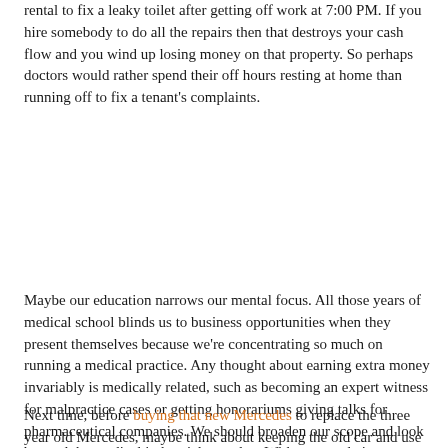rental to fix a leaky toilet after getting off work at 7:00 PM. If you hire somebody to do all the repairs then that destroys your cash flow and you wind up losing money on that property. So perhaps doctors would rather spend their off hours resting at home than running off to fix a tenant's complaints.
Maybe our education narrows our mental focus. All those years of medical school blinds us to business opportunities when they present themselves because we're concentrating so much on running a medical practice. Any thought about earning extra money invariably is medically related, such as becoming an expert witness for malpractice cases or getting honorariums giving talks for pharmaceutical companies. We should broaden our scope and look beyond the medical industrial complex. With our ample incomes, why can't doctors also buy a bunch of crypto miners and start generating crypto money? If two children can do it, surely physicians with over a decade of higher education can too.
Next time, before buying that new Mercedes to replace the three year old Mercedes, maybe think about keeping the old car and use that money for creating a meaningful change in